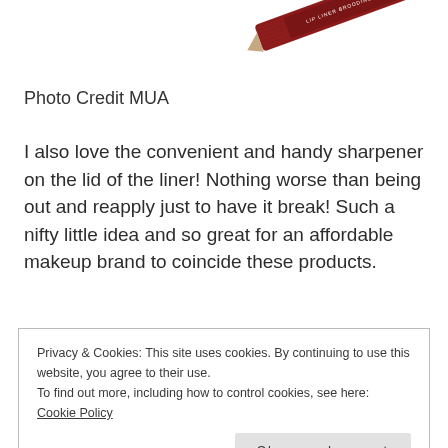[Figure (photo): Partial image of a lip liner pencil (MUA brand, Brooding Plum shade) at top right corner]
Photo Credit MUA
I also love the convenient and handy sharpener on the lid of the liner! Nothing worse than being out and reapply just to have it break! Such a nifty little idea and so great for an affordable makeup brand to coincide these products.
Privacy & Cookies: This site uses cookies. By continuing to use this website, you agree to their use.
To find out more, including how to control cookies, see here: Cookie Policy
Close and accept